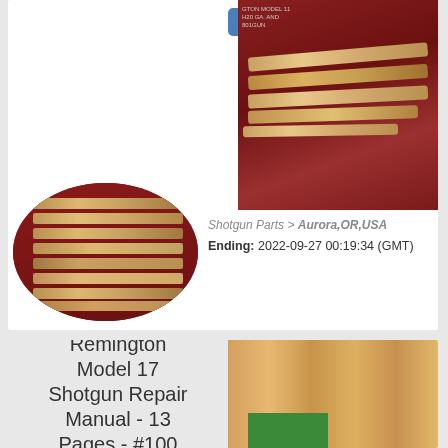[Figure (photo): View Auction button (blue) above a white card area, with a photo of wooden shotgun choke tubes on red fabric background in the top right]
[Figure (photo): Oval/elliptical photo of multiple wooden shotgun choke tubes arranged on red fabric]
Shotgun Parts > Aurora,OR,USA
Ending: 2022-09-27 00:19:34 (GMT)
[Figure (photo): Bottom listing card showing text: Remington Model 17 Shotgun Repair Manual - 13 Pages - #100, with a photo of wood and green surface on the right]